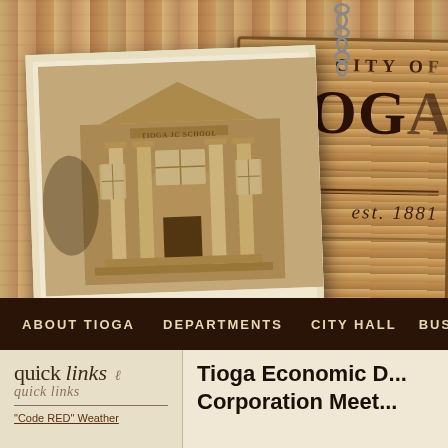[Figure (screenshot): City of Tioga website header with wooden background, hanging wooden sign showing 'CITY OF TIOGA est. 1881', and a sepia-toned polaroid photo of a historic school building with columns]
ABOUT TIOGA    DEPARTMENTS    CITY HALL    BUSI...
quick links
Tioga Economic Development Corporation Meet...
"Code RED" Weather